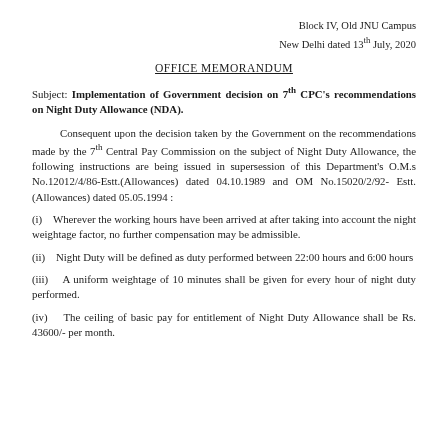Block IV, Old JNU Campus
New Delhi dated 13th July, 2020
OFFICE MEMORANDUM
Subject: Implementation of Government decision on 7th CPC's recommendations on Night Duty Allowance (NDA).
Consequent upon the decision taken by the Government on the recommendations made by the 7th Central Pay Commission on the subject of Night Duty Allowance, the following instructions are being issued in supersession of this Department's O.M.s No.12012/4/86-Estt.(Allowances) dated 04.10.1989 and OM No.15020/2/92- Estt.(Allowances) dated 05.05.1994 :
(i)   Wherever the working hours have been arrived at after taking into account the night weightage factor, no further compensation may be admissible.
(ii)   Night Duty will be defined as duty performed between 22:00 hours and 6:00 hours
(iii)   A uniform weightage of 10 minutes shall be given for every hour of night duty performed.
(iv)   The ceiling of basic pay for entitlement of Night Duty Allowance shall be Rs. 43600/- per month.